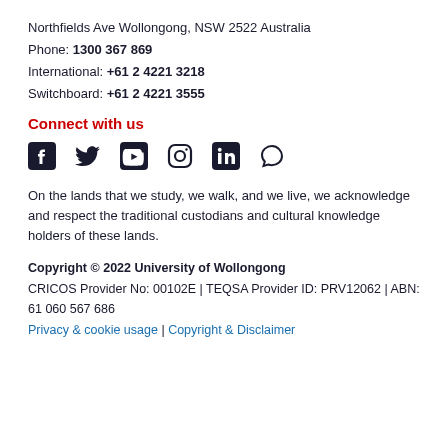Northfields Ave Wollongong, NSW 2522 Australia
Phone: 1300 367 869
International: +61 2 4221 3218
Switchboard: +61 2 4221 3555
Connect with us
[Figure (infographic): Social media icons: Facebook, Twitter, YouTube, Instagram, LinkedIn, WeChat/chat bubble]
On the lands that we study, we walk, and we live, we acknowledge and respect the traditional custodians and cultural knowledge holders of these lands.
Copyright © 2022 University of Wollongong
CRICOS Provider No: 00102E | TEQSA Provider ID: PRV12062 | ABN: 61 060 567 686
Privacy & cookie usage | Copyright & Disclaimer